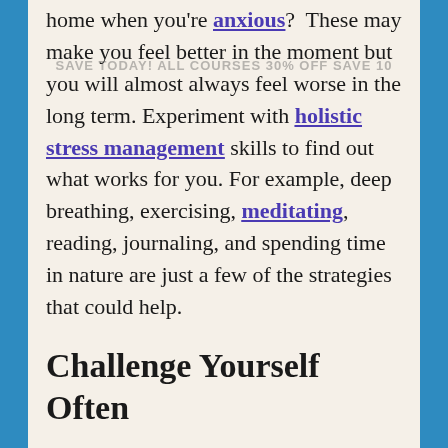home when you're anxious? These may make you feel better in the moment but you will almost always feel worse in the long term. Experiment with holistic stress management skills to find out what works for you. For example, deep breathing, exercising, meditating, reading, journaling, and spending time in nature are just a few of the strategies that could help.
Challenge Yourself Often